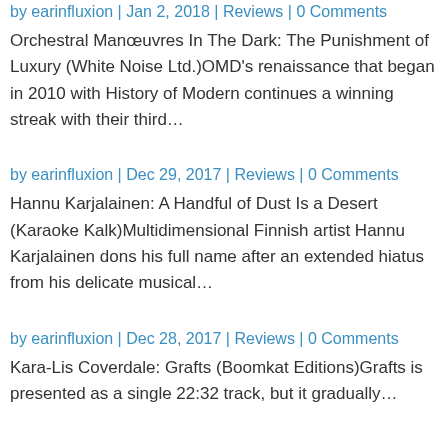by earinfluxion | Jan 2, 2018 | Reviews | 0 Comments
Orchestral Manœuvres In The Dark: The Punishment of Luxury (White Noise Ltd.)OMD's renaissance that began in 2010 with History of Modern continues a winning streak with their third…
by earinfluxion | Dec 29, 2017 | Reviews | 0 Comments
Hannu Karjalainen: A Handful of Dust Is a Desert (Karaoke Kalk)Multidimensional Finnish artist Hannu Karjalainen dons his full name after an extended hiatus from his delicate musical…
by earinfluxion | Dec 28, 2017 | Reviews | 0 Comments
Kara-Lis Coverdale: Grafts (Boomkat Editions)Grafts is presented as a single 22:32 track, but it gradually…